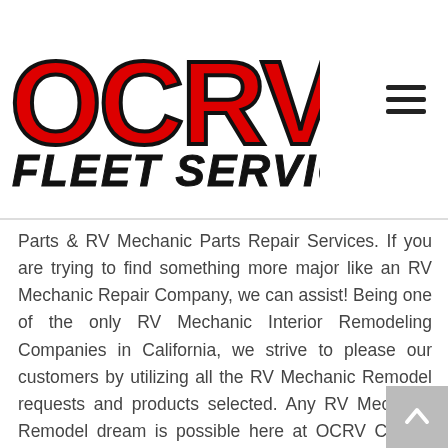[Figure (logo): OCRV Fleet Services logo — OCRV in large bold red letters with black stroke, FLEET SERVICES in bold italic black below]
Parts & RV Mechanic Parts Repair Services. If you are trying to find something more major like an RV Mechanic Repair Company, we can assist! Being one of the only RV Mechanic Interior Remodeling Companies in California, we strive to please our customers by utilizing all the RV Mechanic Remodel requests and products selected. Any RV Mechanic Remodel dream is possible here at OCRV Center! We have all the tools and skill to finish the job right the first time! We can do everything from; RV Mechanic Dent Repair, RV Mechanic Frame Repair, RV Mechanic Collision Repair, RV Mechanic Body Repair, RV Mechanic...